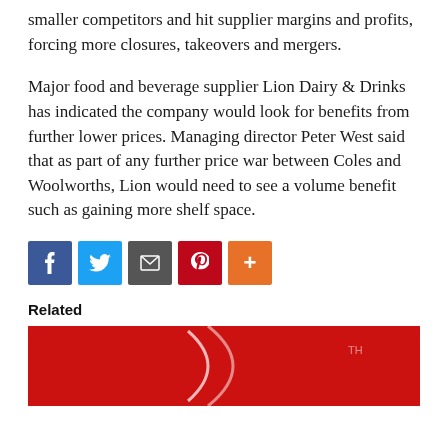smaller competitors and hit supplier margins and profits, forcing more closures, takeovers and mergers.
Major food and beverage supplier Lion Dairy & Drinks has indicated the company would look for benefits from further lower prices. Managing director Peter West said that as part of any further price war between Coles and Woolworths, Lion would need to see a volume benefit such as gaining more shelf space.
[Figure (other): Social sharing buttons: Facebook (blue), Twitter (light blue), Email/share (grey), Pinterest (red), More (orange)]
Related
[Figure (photo): Partial photo with red background, appears to be a Coca-Cola can or similar red branded product]